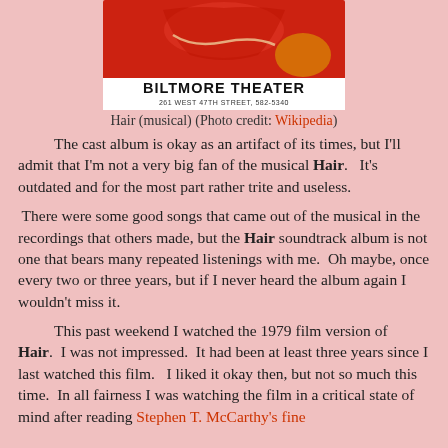[Figure (photo): Theater poster image for Hair musical at Biltmore Theater, 261 West 47th Street, 582-5340. Red background with illustrated figure, bold text 'BILTMORE THEATER' and address.]
Hair (musical) (Photo credit: Wikipedia)
The cast album is okay as an artifact of its times, but I'll admit that I'm not a very big fan of the musical Hair. It's outdated and for the most part rather trite and useless. There were some good songs that came out of the musical in the recordings that others made, but the Hair soundtrack album is not one that bears many repeated listenings with me. Oh maybe, once every two or three years, but if I never heard the album again I wouldn't miss it.
This past weekend I watched the 1979 film version of Hair. I was not impressed. It had been at least three years since I last watched this film. I liked it okay then, but not so much this time. In all fairness I was watching the film in a critical state of mind after reading Stephen T. McCarthy's fine